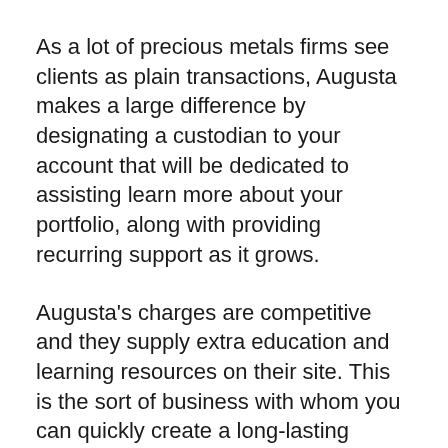As a lot of precious metals firms see clients as plain transactions, Augusta makes a large difference by designating a custodian to your account that will be dedicated to assisting learn more about your portfolio, along with providing recurring support as it grows.
Augusta's charges are competitive and they supply extra education and learning resources on their site. This is the sort of business with whom you can quickly create a long-lasting connection.
You'll locate many favorable consumer reviews concerning the company as they happily hold one of the most favorable positions out there. In addition, Augusta is a